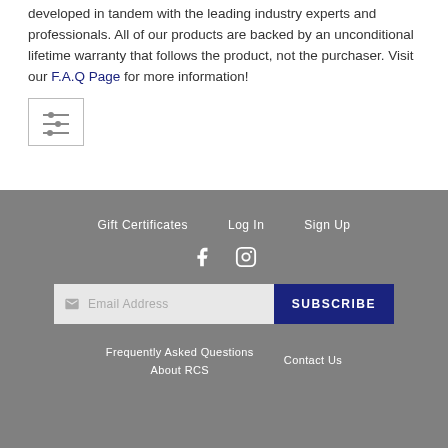developed in tandem with the leading industry experts and professionals. All of our products are backed by an unconditional lifetime warranty that follows the product, not the purchaser. Visit our F.A.Q Page for more information!
[Figure (other): Filter/settings icon with three horizontal sliders]
Gift Certificates   Log In   Sign Up
Facebook icon   Instagram icon
Email Address [Subscribe button]
Frequently Asked Questions   Contact Us
About RCS